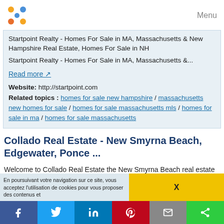Menu
Startpoint Realty - Homes For Sale in MA, Massachusetts & New Hampshire Real Estate, Homes For Sale in NH
Startpoint Realty - Homes For Sale in MA, Massachusetts &...
Read more
Website: http://startpoint.com
Related topics : homes for sale new hampshire / massachusetts new homes for sale / homes for sale massachusetts mls / homes for sale in ma / homes for sale massachusetts
Collado Real Estate - New Smyrna Beach, Edgewater, Ponce ...
Welcome to Collado Real Estate the New Smyrna Beach real estate and homes for sale web site. This site features New Smyrna Beach real estate and homes for sale as well as for all surrounding areas including Edgewater, Ponce Inlet,
En poursuivant votre navigation sur ce site, vous acceptez l'utilisation de cookies pour vous proposer des contenus et
X